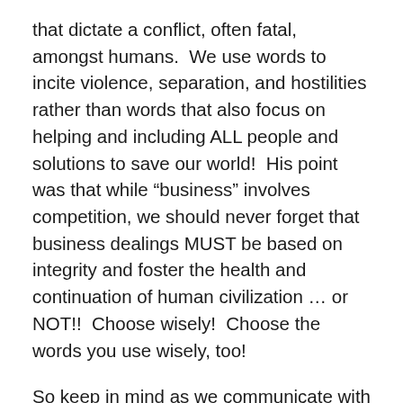that dictate a conflict, often fatal, amongst humans.  We use words to incite violence, separation, and hostilities rather than words that also focus on helping and including ALL people and solutions to save our world!  His point was that while “business” involves competition, we should never forget that business dealings MUST be based on integrity and foster the health and continuation of human civilization … or NOT!!  Choose wisely!  Choose the words you use wisely, too!
So keep in mind as we communicate with each other daily that the words we use affect our interactions and ultimately humanity.  Are we humans really as smart as we claim to be?!  As I look at that hell-like drama unfolding near Kabul and Afghanistan, my heart aches for the children … as well as the females …   Unfortunately, I saw remnants of